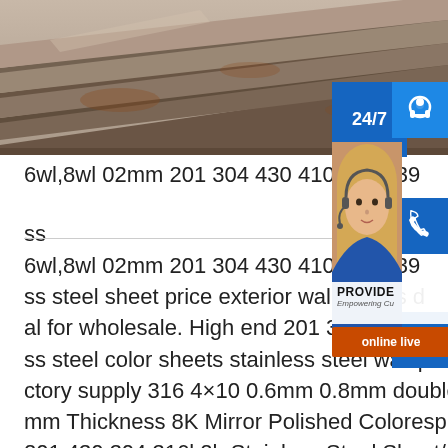[Figure (photo): Stack of metal/steel plates photographed from above at an angle, showing layered steel sheets with rust and metallic surfaces]
6wl,8wl 02mm 201 304 430 410 316 439 ss
6wl,8wl 02mm 201 304 430 410 316 439 ss steel sheet price exterior wall panels decal for wholesale. High end 201 304 Etching Mirror stainless steel color sheets stainless steel wall panel plated; Factory supply 316 4×10 0.6mm 0.8mm double 1.2mm 1.5mm Thickness 8K Mirror Polished Coloresp.infoTisco Sts 201 430 304 316l 2b Stainless Steel Sheet/coil Tisco Sts
[Figure (infographic): Customer service overlay panel with 24/7 blue banner, headphone icon, phone icon, Skype icon, customer service representative photo, PROVIDE Empowering Customers text, and orange online live button]